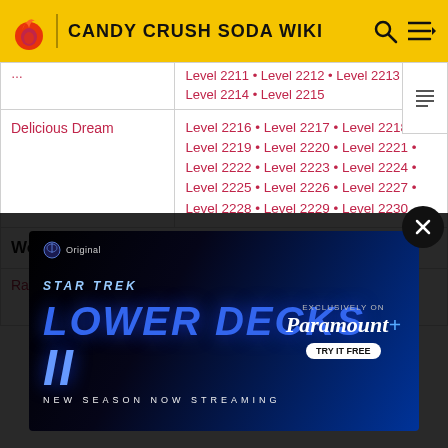CANDY CRUSH SODA WIKI
| Episode/World | Levels |
| --- | --- |
| (partial row above) | Level 2211 • Level 2212 • Level 2213 • Level 2214 • Level 2215 |
| Delicious Dream | Level 2216 • Level 2217 • Level 2218 • Level 2219 • Level 2220 • Level 2221 • Level 2222 • Level 2223 • Level 2224 • Level 2225 • Level 2226 • Level 2227 • Level 2228 • Level 2229 • Level 2230 |
| World 48 |  |
| Rainbow Room | Level 2231 • Level 2232 • Level ... |
[Figure (screenshot): Star Trek Lower Decks Season 2 advertisement banner - Paramount+ streaming promotion]